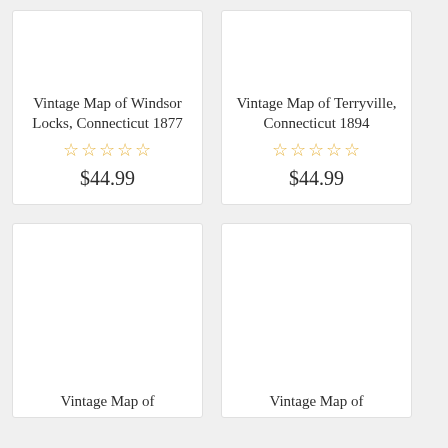Vintage Map of Windsor Locks, Connecticut 1877
☆☆☆☆☆
$44.99
Vintage Map of Terryville, Connecticut 1894
☆☆☆☆☆
$44.99
Vintage Map of
Vintage Map of